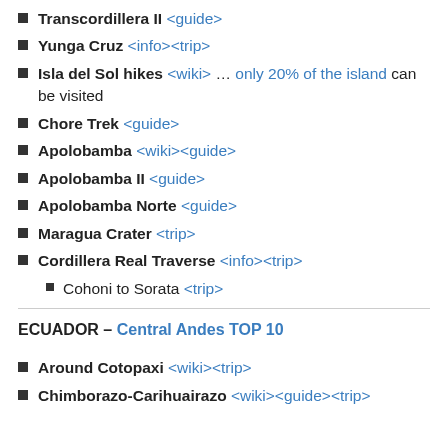Transcordillera II <guide>
Yunga Cruz <info><trip>
Isla del Sol hikes <wiki> … only 20% of the island can be visited
Chore Trek <guide>
Apolobamba <wiki><guide>
Apolobamba II <guide>
Apolobamba Norte <guide>
Maragua Crater <trip>
Cordillera Real Traverse <info><trip>
Cohoni to Sorata <trip>
ECUADOR – Central Andes TOP 10
Around Cotopaxi <wiki><trip>
Chimborazo-Carihuairazo <wiki><guide><trip>